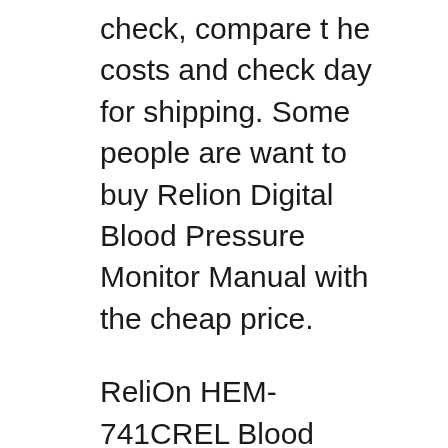check, compare t he costs and check day for shipping. Some people are want to buy Relion Digital Blood Pressure Monitor Manual with the cheap price.
ReliOn HEM-741CREL Blood Pressure Monitor User Manual. Open as PDF. of 40 I have a Relion model 741CREL blood pressure machine and... Blood Pressure Monitor Relion 7400REL Instruction Manual. Relion blood pressure monitor user manual (56 pages).Blood Pressure Monitor ReliOn HEM-780REL Instruction Manual. Relion bp monitor user manual keyword after analyzing the system lists the list of keywords related and the list of websites with related content, in addition you can see which keywords